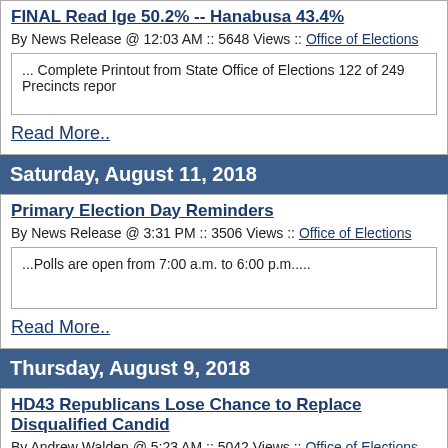FINAL Read Ige 50.2% -- Hanabusa 43.4%
By News Release @ 12:03 AM :: 5648 Views :: Office of Elections
... Complete Printout from State Office of Elections 122 of 249 Precincts repor
Read More..
Saturday, August 11, 2018
Primary Election Day Reminders
By News Release @ 3:31 PM :: 3506 Views :: Office of Elections
...Polls are open from 7:00 a.m. to 6:00 p.m.....
Read More..
Thursday, August 9, 2018
HD43 Republicans Lose Chance to Replace Disqualified Candid
By Andrew Walden @ 5:23 AM :: 5042 Views :: Office of Elections, Republican P
...Instead of Republicans nominating a replacement, Sailau Timoteo, August 6, 2 Hawaii Attorney General....